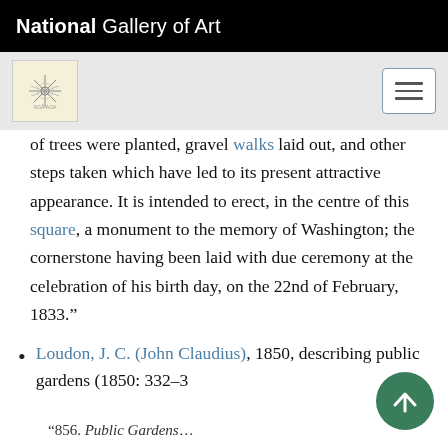National Gallery of Art
of trees were planted, gravel walks laid out, and other steps taken which have led to its present attractive appearance. It is intended to erect, in the centre of this square, a monument to the memory of Washington; the cornerstone having been laid with due ceremony at the celebration of his birth day, on the 22nd of February, 1833.”
Loudon, J. C. (John Claudius), 1850, describing public gardens (1850: 332–
“856. Public Gardens…